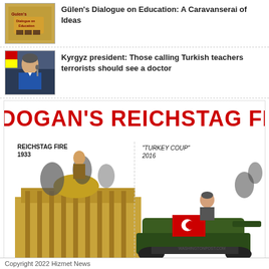[Figure (photo): Thumbnail image for Gulen's Dialogue on Education book cover]
Gülen's Dialogue on Education: A Caravanserai of Ideas
[Figure (photo): Thumbnail photo of Kyrgyz president at a podium]
Kyrgyz president: Those calling Turkish teachers terrorists should see a doctor
[Figure (illustration): Political cartoon image titled ERDOGAN'S REICHSTAG FIRE comparing Reichstag Fire 1933 (Hitler on burning building) with Turkey Coup 2016 (Erdogan on tank). Caption reads Turkey Coup Attempt July 2016.]
Copyright 2022 Hizmet News